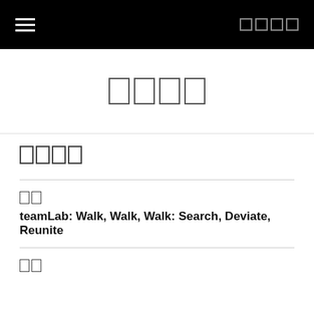≡ □□□□
□□□□
□□□□
□□
teamLab: Walk, Walk, Walk: Search, Deviate, Reunite
□□